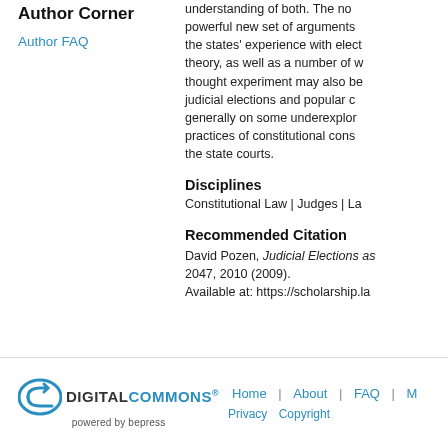Author Corner
Author FAQ
understanding of both. The no powerful new set of arguments the states' experience with elect theory, as well as a number of w thought experiment may also be judicial elections and popular c generally on some underexplor practices of constitutional cons the state courts.
Disciplines
Constitutional Law | Judges | La
Recommended Citation
David Pozen, Judicial Elections as 2047, 2010 (2009). Available at: https://scholarship.la
[Figure (logo): Digital Commons powered by bepress logo with stylized arrow/return icon in teal/blue]
Home | About | FAQ | M Privacy  Copyright